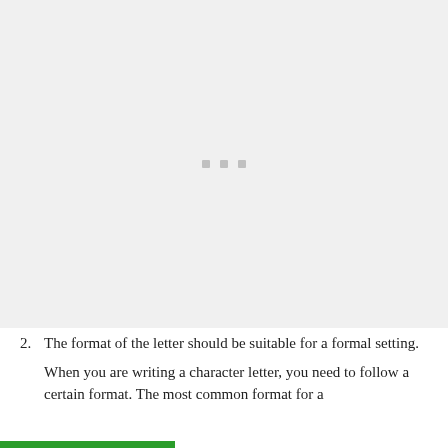[Figure (other): A light gray placeholder image area with three small gray square dots centered in the middle]
2. The format of the letter should be suitable for a formal setting.
When you are writing a character letter, you need to follow a certain format. The most common format for a